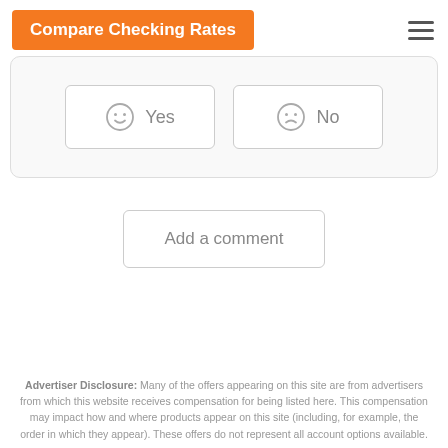Compare Checking Rates
[Figure (screenshot): Yes/No voting buttons with smiley face icons inside a rounded card area]
Add a comment
Advertiser Disclosure: Many of the offers appearing on this site are from advertisers from which this website receives compensation for being listed here. This compensation may impact how and where products appear on this site (including, for example, the order in which they appear). These offers do not represent all account options available.